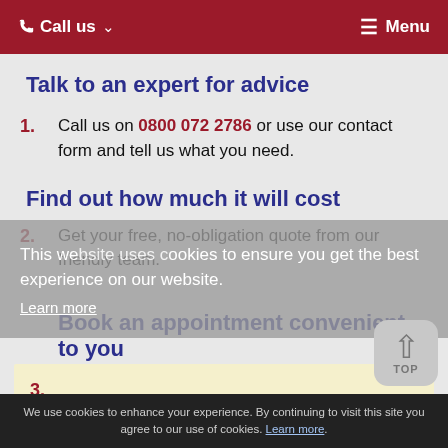Call us ∨   Menu
Talk to an expert for advice
1. Call us on 0800 072 2786 or use our contact form and tell us what you need.
Find out how much it will cost
2. Get your free, no-obligation quote from our friendly team.
This website uses cookies to ensure you get the best experience on our website. Learn more
Book an appointment convenient to you
3.
We use cookies to enhance your experience. By continuing to visit this site you agree to our use of cookies. Learn more.